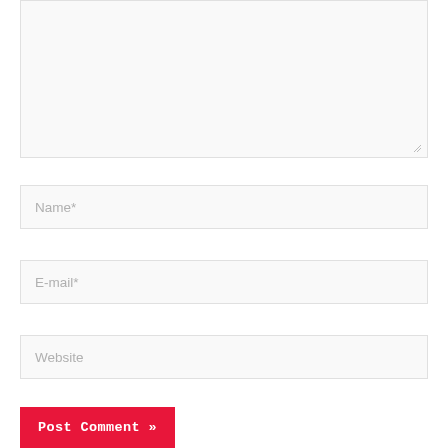[Figure (screenshot): Textarea input field (empty, resizable) at the top of a comment form]
Name*
E-mail*
Website
Post Comment »